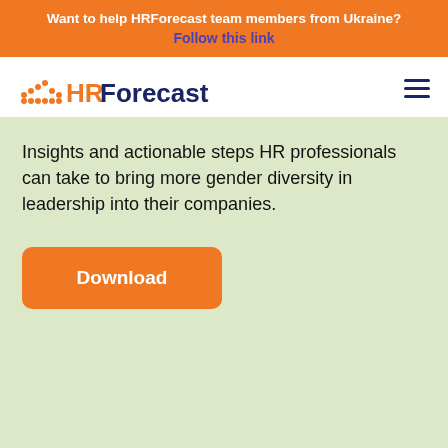Want to help HRForecast team members from Ukraine? Follow this link
[Figure (logo): HRForecast logo with orange dots and HR in orange, Forecast in dark blue]
Insights and actionable steps HR professionals can take to bring more gender diversity in leadership into their companies.
Download